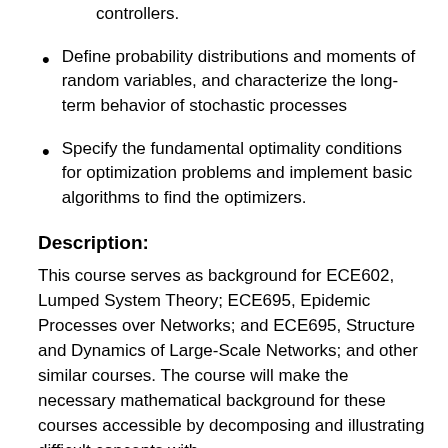controllers.
Define probability distributions and moments of random variables, and characterize the long-term behavior of stochastic processes
Specify the fundamental optimality conditions for optimization problems and implement basic algorithms to find the optimizers.
Description:
This course serves as background for ECE602, Lumped System Theory; ECE695, Epidemic Processes over Networks; and ECE695, Structure and Dynamics of Large-Scale Networks; and other similar courses. The course will make the necessary mathematical background for these courses accessible by decomposing and illustrating difficult concepts with